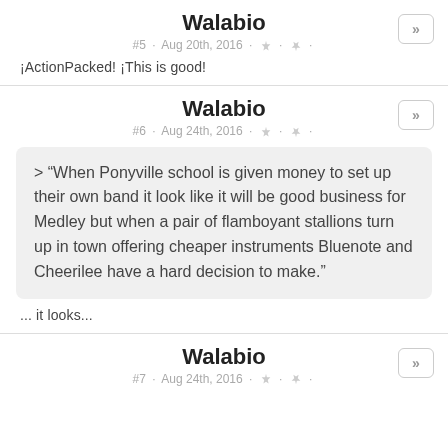Walabio
#5 · Aug 20th, 2016 · 👍 · 👎 ·
¡ActionPacked! ¡This is good!
Walabio
#6 · Aug 24th, 2016 · 👍 · 👎 ·
> "When Ponyville school is given money to set up their own band it look like it will be good business for Medley but when a pair of flamboyant stallions turn up in town offering cheaper instruments Bluenote and Cheerilee have a hard decision to make."
... it looks...
Walabio
#7 · Aug 24th, 2016 · 👍 · 👎 ·